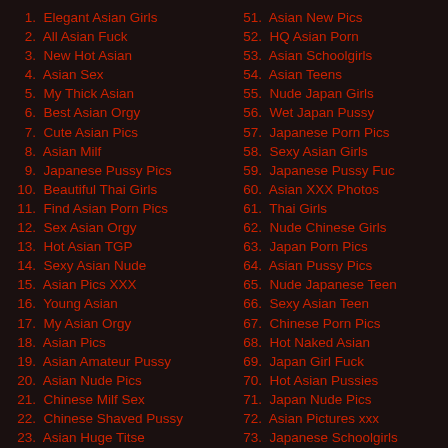1. Elegant Asian Girls
2. All Asian Fuck
3. New Hot Asian
4. Asian Sex
5. My Thick Asian
6. Best Asian Orgy
7. Cute Asian Pics
8. Asian Milf
9. Japanese Pussy Pics
10. Beautiful Thai Girls
11. Find Asian Porn Pics
12. Sex Asian Orgy
13. Hot Asian TGP
14. Sexy Asian Nude
15. Asian Pics XXX
16. Young Asian
17. My Asian Orgy
18. Asian Pics
19. Asian Amateur Pussy
20. Asian Nude Pics
21. Chinese Milf Sex
22. Chinese Shaved Pussy
23. Asian Huge Titse
24. Asian Teen Porn
25. Japanese teens
26. Thai Girls
27. Japanese Sex Photos
51. Asian New Pics
52. HQ Asian Porn
53. Asian Schoolgirls
54. Asian Teens
55. Nude Japan Girls
56. Wet Japan Pussy
57. Japanese Porn Pics
58. Sexy Asian Girls
59. Japanese Pussy Fuc
60. Asian XXX Photos
61. Thai Girls
62. Nude Chinese Girls
63. Japan Porn Pics
64. Asian Pussy Pics
65. Nude Japanese Teen
66. Sexy Asian Teen
67. Chinese Porn Pics
68. Hot Naked Asian
69. Japan Girl Fuck
70. Hot Asian Pussies
71. Japan Nude Pics
72. Asian Pictures xxx
73. Japanese Schoolgirls
74. Asian Porno
75. Clean Thai Sex
76. Hot Asian XXX
77. Crystal Asian Porn